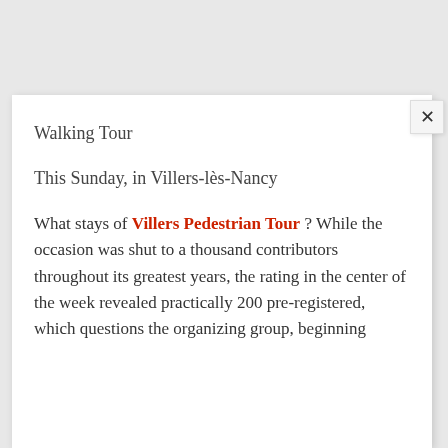Walking Tour
This Sunday, in Villers-lès-Nancy
What stays of Villers Pedestrian Tour ? While the occasion was shut to a thousand contributors throughout its greatest years, the rating in the center of the week revealed practically 200 pre-registered, which questions the organizing group, beginning